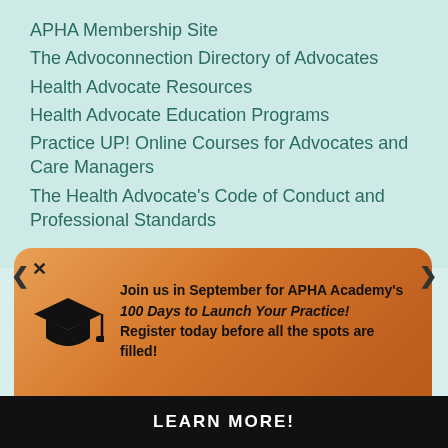APHA Membership Site
The Advoconnection Directory of Advocates
Health Advocate Resources
Health Advocate Education Programs
Practice UP! Online Courses for Advocates and Care Managers
The Health Advocate's Code of Conduct and Professional Standards
[Figure (infographic): Orange gradient popup card with graduation cap icon and text: Join us in September for APHA Academy's 100 Days to Launch Your Practice! Register today before all the spots are filled!]
LEARN MORE!